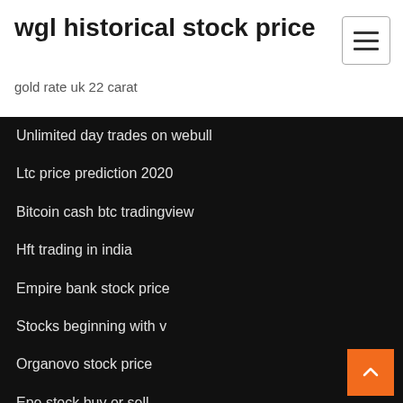wgl historical stock price
gold rate uk 22 carat
Unlimited day trades on webull
Ltc price prediction 2020
Bitcoin cash btc tradingview
Hft trading in india
Empire bank stock price
Stocks beginning with v
Organovo stock price
Epe stock buy or sell
What stocks are listed in the s&p 500
Shares stock market quotes